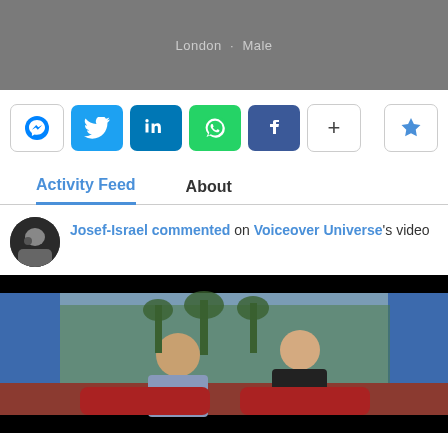London  ·  Male
[Figure (infographic): Social share buttons: Messenger, Twitter, LinkedIn, WhatsApp, Facebook, More (+), and a star/bookmark button]
Activity Feed | About
Josef-Israel commented on Voiceover Universe's video
[Figure (photo): Video thumbnail showing two people seated on a talk show set with red sofas, a background of palm trees and blue sky. One person in a striped shirt faces another in a black top.]